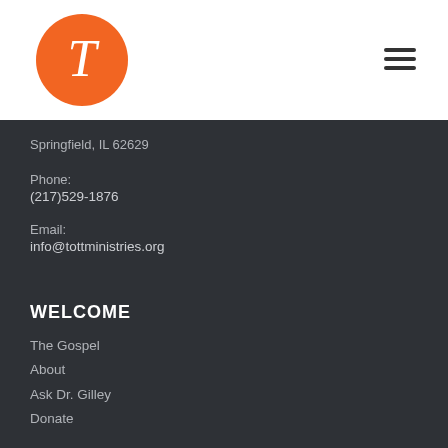[Figure (logo): Orange circle logo with white letter T in old-style serif font]
Springfield, IL 62629
Phone:
(217)529-1876
Email:
info@tottministries.org
WELCOME
The Gospel
About
Ask Dr. Gilley
Donate